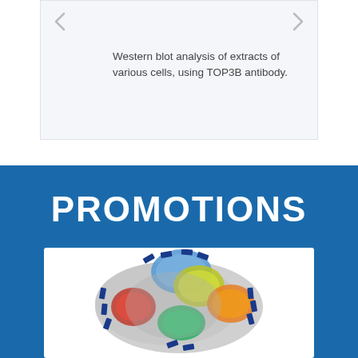Western blot analysis of extracts of various cells, using TOP3B antibody.
PROMOTIONS
[Figure (illustration): 3D molecular structure of a protein complex with multiple colored domains (blue, red, yellow-green, green, orange) shown as surface rendering with blue rectangular markers attached at multiple binding sites]